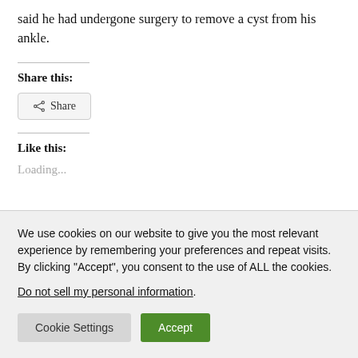said he had undergone surgery to remove a cyst from his ankle.
Share this:
[Figure (other): Share button with share icon]
Like this:
Loading...
We use cookies on our website to give you the most relevant experience by remembering your preferences and repeat visits. By clicking “Accept”, you consent to the use of ALL the cookies.
Do not sell my personal information.
Cookie Settings   Accept